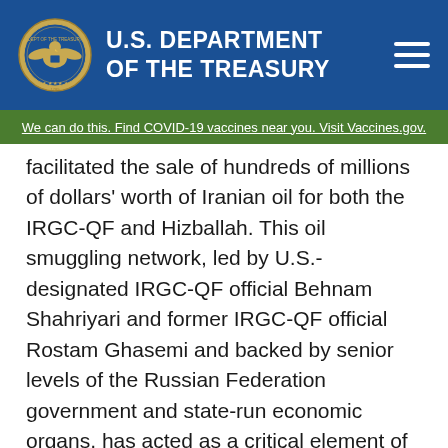U.S. DEPARTMENT OF THE TREASURY
We can do this. Find COVID-19 vaccines near you. Visit Vaccines.gov.
facilitated the sale of hundreds of millions of dollars' worth of Iranian oil for both the IRGC-QF and Hizballah. This oil smuggling network, led by U.S.-designated IRGC-QF official Behnam Shahriyari and former IRGC-QF official Rostam Ghasemi and backed by senior levels of the Russian Federation government and state-run economic organs, has acted as a critical element of Iran's oil revenue generation, as well as its support for proxy militant groups that continue to perpetuate conflict and suffering throughout the region.
“The United States remains fully committed to